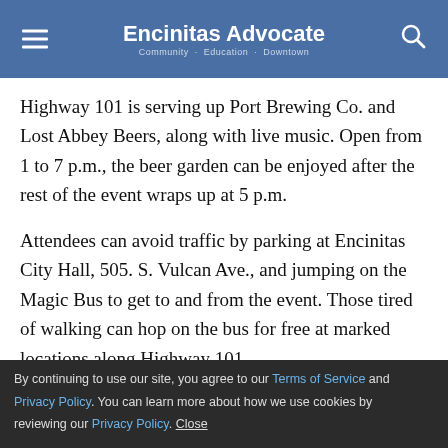Encinitas Advocate | Community · Education · Downtown
Highway 101 is serving up Port Brewing Co. and Lost Abbey Beers, along with live music. Open from 1 to 7 p.m., the beer garden can be enjoyed after the rest of the event wraps up at 5 p.m.
Attendees can avoid traffic by parking at Encinitas City Hall, 505. S. Vulcan Ave., and jumping on the Magic Bus to get to and from the event. Those tired of walking can hop on the bus for free at marked locations along Highway 101.
By continuing to use our site, you agree to our Terms of Service and Privacy Policy. You can learn more about how we use cookies by reviewing our Privacy Policy. Close
Organizers want the LeucadiART Walk to be a way to connect with local artists and merchants. The event is